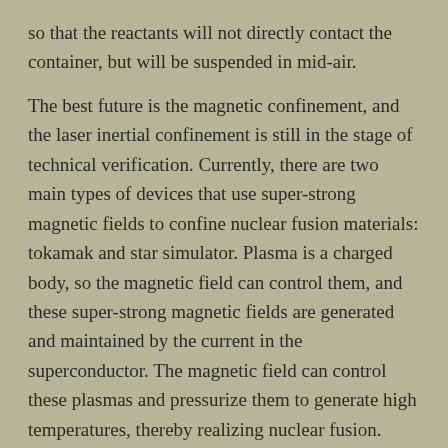so that the reactants will not directly contact the container, but will be suspended in mid-air.
The best future is the magnetic confinement, and the laser inertial confinement is still in the stage of technical verification. Currently, there are two main types of devices that use super-strong magnetic fields to confine nuclear fusion materials: tokamak and star simulator. Plasma is a charged body, so the magnetic field can control them, and these super-strong magnetic fields are generated and maintained by the current in the superconductor. The magnetic field can control these plasmas and pressurize them to generate high temperatures, thereby realizing nuclear fusion.